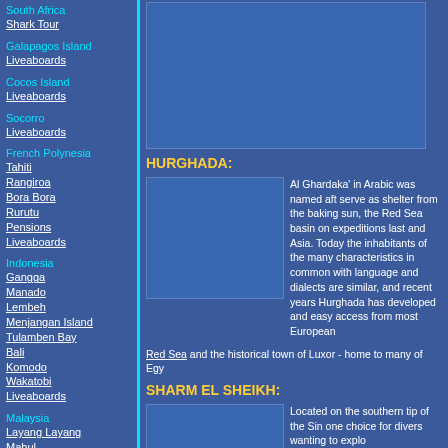South Africa
Shark Tour
Galapagos Island Liveaboards
Cocos Island Liveaboards
Socorro Liveaboards
French Polynesia
Tahiti
Rangiroa
Bora Bora
Rurutu
Pensions
Liveaboards
Indonesia
Gangga
Manado
Lembeh
Menjangan Island
Tulamben Bay
Bali
Komodo
Wakatobi
Liveaboards
Malaysia
Layang Layang
Mabul
Sipadan
Liveaboard
Red Sea Liveaboard
[Figure (other): Advertisement placeholder top]
HURGHADA:
[Figure (photo): Hurghada photo placeholder]
Al Ghardaka' in Arabic was named aft serve as shelter from the baking sun, the Red Sea basin on expeditions last and Asia. Today the inhabitants of the many characteristics in common with language and dialects are similar, and recent years Hurghada has developed and easy access from most European Red Sea and the historical town of Luxor - home to many of Egy
SHARM EL SHEIKH:
[Figure (photo): Sharm El Sheikh photo placeholder]
Located on the southern tip of the Sin one choice for divers wanting to explo